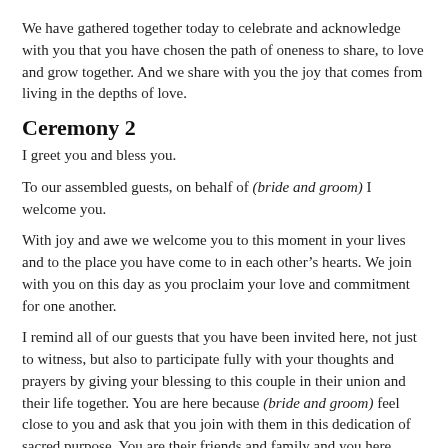We have gathered together today to celebrate and acknowledge with you that you have chosen the path of oneness to share, to love and grow together. And we share with you the joy that comes from living in the depths of love.
Ceremony 2
I greet you and bless you.
To our assembled guests, on behalf of (bride and groom) I welcome you.
With joy and awe we welcome you to this moment in your lives and to the place you have come to in each other’s hearts. We join with you on this day as you proclaim your love and commitment for one another.
I remind all of our guests that you have been invited here, not just to witness, but also to participate fully with your thoughts and prayers by giving your blessing to this couple in their union and their life together. You are here because (bride and groom) feel close to you and ask that you join with them in this dedication of sacred purpose. You are their friends and family and you here represent all their relations, past,